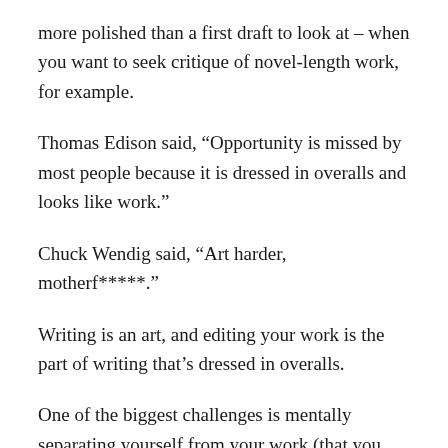more polished than a first draft to look at – when you want to seek critique of novel-length work, for example.
Thomas Edison said, “Opportunity is missed by most people because it is dressed in overalls and looks like work.”
Chuck Wendig said, “Art harder, motherf*****.”
Writing is an art, and editing your work is the part of writing that’s dressed in overalls.
One of the biggest challenges is mentally separating yourself from your work (that you love, you’re very pleased with, will be a #1 Best Seller, win the Hugo